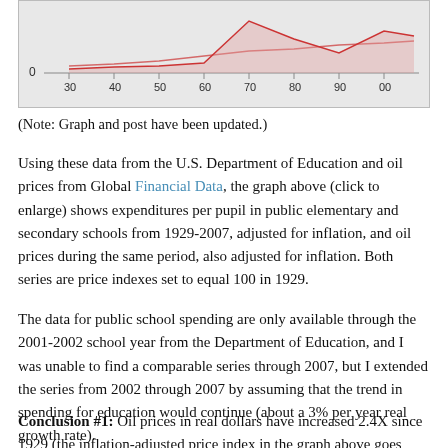[Figure (continuous-plot): Bottom portion of a line chart showing expenditures per pupil in public elementary and secondary schools and oil prices from 1929-2007, adjusted for inflation. X-axis shows decades labeled 30, 40, 50, 60, 70, 80, 90, 00. Y-axis shows value near 0. Two lines visible: one red/pink flat line and one with more variation.]
(Note: Graph and post have been updated.)
Using these data from the U.S. Department of Education and oil prices from Global Financial Data, the graph above (click to enlarge) shows expenditures per pupil in public elementary and secondary schools from 1929-2007, adjusted for inflation, and oil prices during the same period, also adjusted for inflation. Both series are price indexes set to equal 100 in 1929.
The data for public school spending are only available through the 2001-2002 school year from the Department of Education, and I was unable to find a comparable series through 2007, but I extended the series from 2002 through 2007 by assuming that the trend in spending for education would continue (about a 3% per year real growth rate).
Conclusion #1: Oil prices in real dollars have increased 2.4X since 1929 (the inflation-adjusted price index in the graph above goes from 100 to 248).